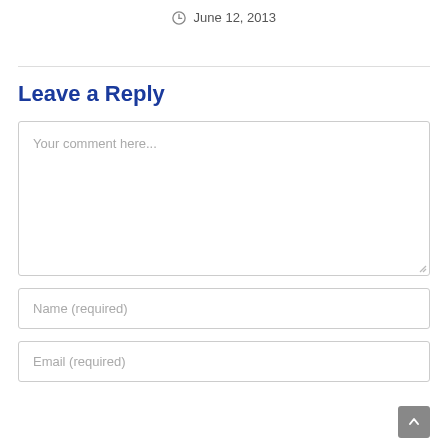June 12, 2013
Leave a Reply
Your comment here...
Name (required)
Email (required)